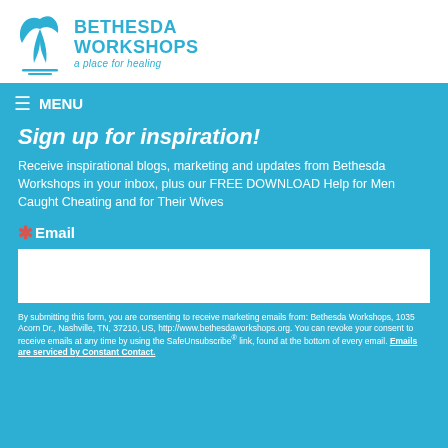BETHESDA WORKSHOPS a place for healing
≡ MENU
Sign up for inspiration!
Receive inspirational blogs, marketing and updates from Bethesda Workshops in your inbox, plus our FREE DOWNLOAD Help for Men Caught Cheating and for Their Wives
* Email
By submitting this form, you are consenting to receive marketing emails from: Bethesda Workshops, 1035 Acorn Dr., Nashville, TN, 37210, US, http://www.bethesdaworkshops.org. You can revoke your consent to receive emails at any time by using the SafeUnsubscribe® link, found at the bottom of every email. Emails are serviced by Constant Contact.